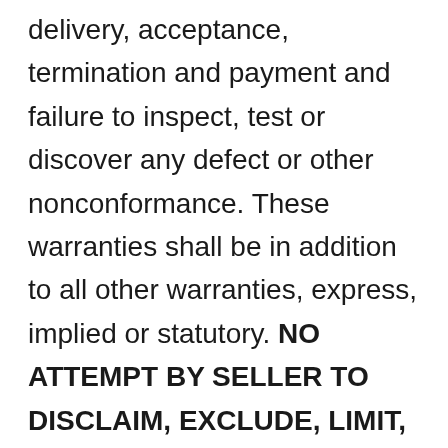delivery, acceptance, termination and payment and failure to inspect, test or discover any defect or other nonconformance. These warranties shall be in addition to all other warranties, express, implied or statutory. NO ATTEMPT BY SELLER TO DISCLAIM, EXCLUDE, LIMIT, OR MODIFY ANY WARRANTIES OR SELLER'S LIABILITY FOR DIRECT, INCIDENTAL, OR CONSEQUENTIAL DAMAGES SHALL BE OF ANY FORCE OR EFFECT.